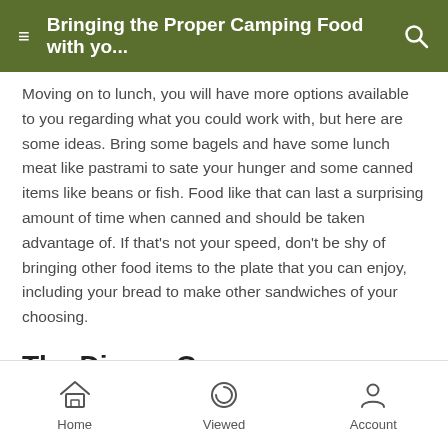Bringing the Proper Camping Food with yo...
Moving on to lunch, you will have more options available to you regarding what you could work with, but here are some ideas. Bring some bagels and have some lunch meat like pastrami to sate your hunger and some canned items like beans or fish. Food like that can last a surprising amount of time when canned and should be taken advantage of. If that's not your speed, don't be shy of bringing other food items to the plate that you can enjoy, including your bread to make other sandwiches of your choosing.
The Dinner Course
Finally, we have dinner. Potatoes and pasta are often the most intelligent choices because you only need boiling water to help yourself whenever you're camping. Get the
Home   Viewed   Account